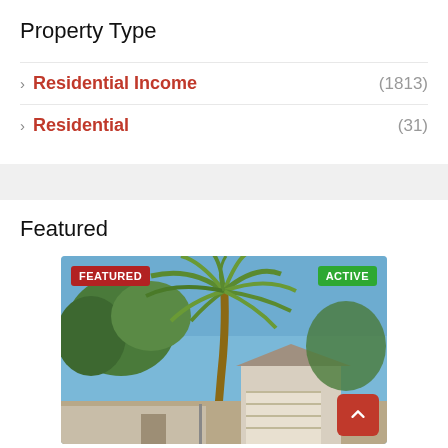Property Type
Residential Income (1813)
Residential (31)
Featured
[Figure (photo): A residential property exterior featuring a large palm tree in the foreground, with a garage and house visible behind it. Blue sky in the background. Badges: FEATURED (red, top-left) and ACTIVE (green, top-right).]